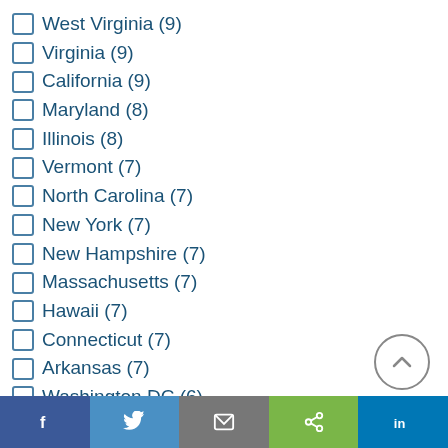West Virginia (9)
Virginia (9)
California (9)
Maryland (8)
Illinois (8)
Vermont (7)
North Carolina (7)
New York (7)
New Hampshire (7)
Massachusetts (7)
Hawaii (7)
Connecticut (7)
Arkansas (7)
Washington DC (6)
Pennsylvania (6)